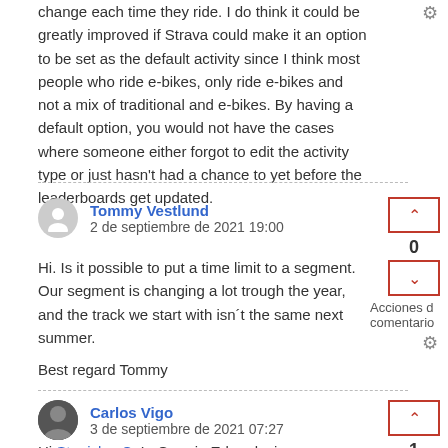change each time they ride.  I do think it could be greatly improved if Strava could make it an option to be set as the default activity since I think most people who ride e-bikes, only ride e-bikes and not a mix of traditional and e-bikes.  By having a default option, you would not have the cases where someone either forgot to edit the activity type or just hasn't had a chance to yet before the leaderboards get updated.
Tommy Vestlund
2 de septiembre de 2021 19:00
Hi. Is it possible to put a time limit to a segment. Our segment is changing a lot trough the year, and the track we start with isn´t the same next summer.

Best regard Tommy
Carlos Vigo
3 de septiembre de 2021 07:27
Hi Stanislav C. In Garmin Edge devices, you can assign eBike or